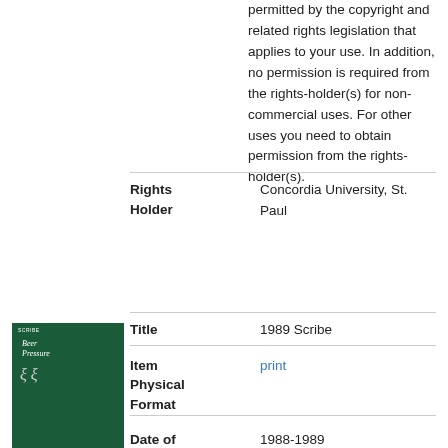permitted by the copyright and related rights legislation that applies to your use. In addition, no permission is required from the rights-holder(s) for non-commercial uses. For other uses you need to obtain permission from the rights-holder(s).
| Field | Value |
| --- | --- |
| Rights Holder | Concordia University, St. Paul |
| Title | 1989 Scribe |
| Item Physical Format | print |
| Date of Creation | 1988-1989 |
| Rights Statement | This Item is protected by copyright and/or related rights. You are free to use this Item in any way that is |